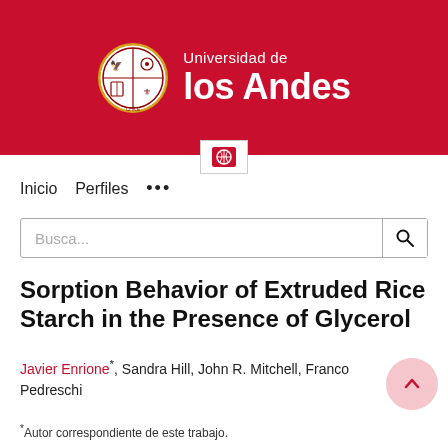[Figure (logo): Universidad de los Andes logo on red banner with university crest]
Inicio   Perfiles   ...
Busca...
Sorption Behavior of Extruded Rice Starch in the Presence of Glycerol
Javier Enrione*, Sandra Hill, John R. Mitchell, Franco Pedreschi
*Autor correspondiente de este trabajo.